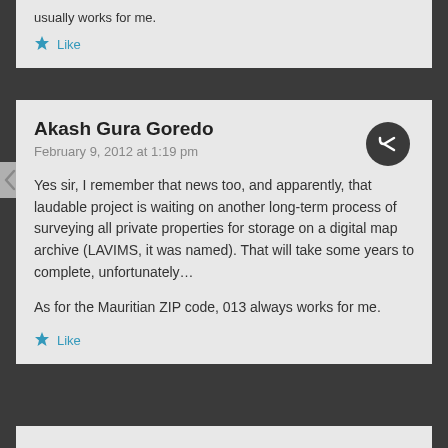usually works for me.
Like
Akash Gura Goredo
February 9, 2012 at 1:19 pm
Yes sir, I remember that news too, and apparently, that laudable project is waiting on another long-term process of surveying all private properties for storage on a digital map archive (LAVIMS, it was named). That will take some years to complete, unfortunately…
As for the Mauritian ZIP code, 013 always works for me.
Like